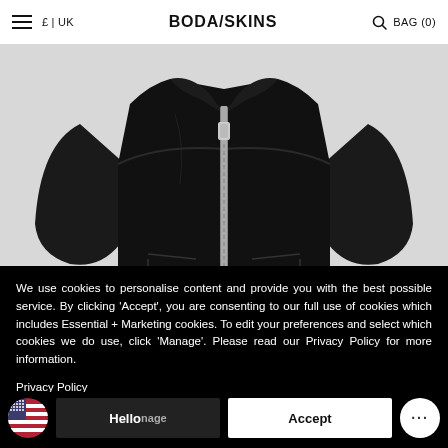≡  £ | UK    BODA/SKINS    🔍 BAG (0)
[Figure (photo): Black leather zip-up jacket with pointed collar, silver zipper, and side pocket details on a light grey background]
We use cookies to personalise content and provide you with the best possible service. By clicking 'Accept', you are consenting to our full use of cookies which includes Essential + Marketing cookies. To edit your preferences and select which cookies we do use, click 'Manage'. Please read our Privacy Policy for more information.
Privacy Policy
Manage
Accept